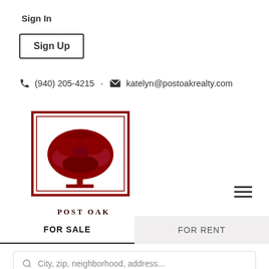Sign In
Sign Up
(940) 205-4215 • katelyn@postoakrealty.com
[Figure (logo): Post Oak Realty logo with a red oak tree inside a red rectangular border, with text POST OAK REALTY below]
FOR SALE
FOR RENT
City, zip, neighborhood, address...